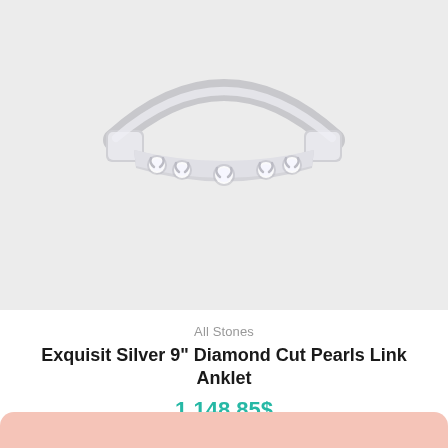[Figure (photo): A silver diamond-cut ring with five small round gemstones set in swirl-style prongs across the front band, photographed on a light gray background.]
All Stones
Exquisit Silver 9" Diamond Cut Pearls Link Anklet
1,148.85$